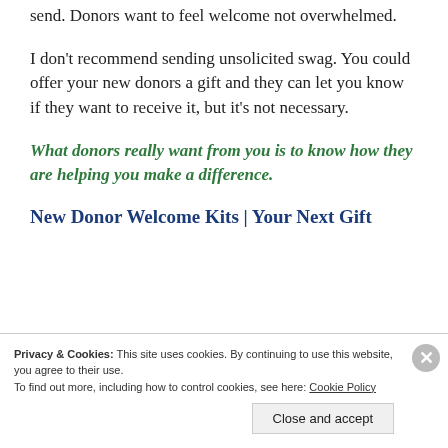send. Donors want to feel welcome not overwhelmed.
I don't recommend sending unsolicited swag. You could offer your new donors a gift and they can let you know if they want to receive it, but it's not necessary.
What donors really want from you is to know how they are helping you make a difference.
New Donor Welcome Kits | Your Next Gift
Privacy & Cookies: This site uses cookies. By continuing to use this website, you agree to their use.
To find out more, including how to control cookies, see here: Cookie Policy
Close and accept